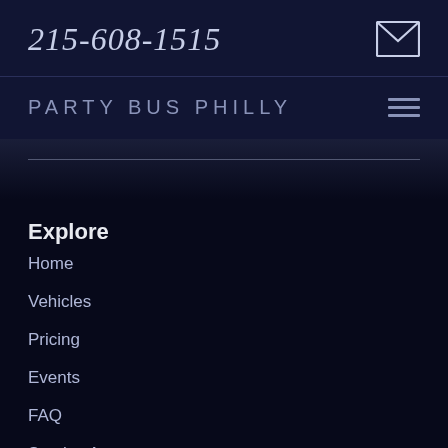215-608-1515
PARTY BUS PHILLY
Explore
Home
Vehicles
Pricing
Events
FAQ
Service Area
About